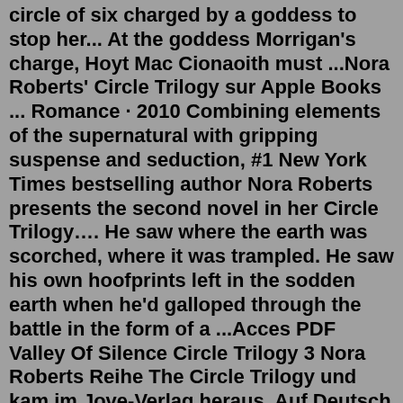circle of six charged by a goddess to stop her... At the goddess Morrigan's charge, Hoyt Mac Cionaoith must ...Nora Roberts' Circle Trilogy sur Apple Books ... Romance · 2010 Combining elements of the supernatural with gripping suspense and seduction, #1 New York Times bestselling author Nora Roberts presents the second novel in her Circle Trilogy…. He saw where the earth was scorched, where it was trampled. He saw his own hoofprints left in the sodden earth when he'd galloped through the battle in the form of a ...Acces PDF Valley Of Silence Circle Trilogy 3 Nora Roberts Reihe The Circle Trilogy und kam im Jove-Verlag heraus. Auf Deutsch erschienen sie 2007 … Books on Google Play 30/05/2017 · Valley of Silence (Circle Trilogy) (Paperback) by Nora Roberts. Featured products. $15.30 . We Were Never Here - by Andrea Bartz (Paperback) sponsored. $11.16 .Circle Trilogy by Nora Roberts 3 primary works • 4 total works Enter a world where gods and goddesses enchant and face an epic threat from Lilth,